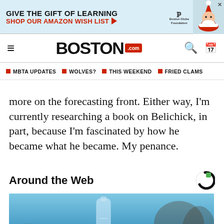[Figure (infographic): Advertisement banner: 'GIVE THE GIFT OF LEARNING / SHOP OUR AMAZON WISH LIST' with arrow, Boston Globe Foundation logo, and illustrated Santa figure. Close button X in top right.]
BOSTON .com — navigation bar with hamburger menu, Boston.com logo, search and calendar icons
MBTA UPDATES  WOLVES?  THIS WEEKEND  FRIED CLAMS
more on the forecasting front. Either way, I'm currently researching a book on Belichick, in part, because I'm fascinated by how he became what he became. My penance.
Around the Web
[Figure (photo): A hand holding a clear glass jar or bottle against a bright blue sky background.]